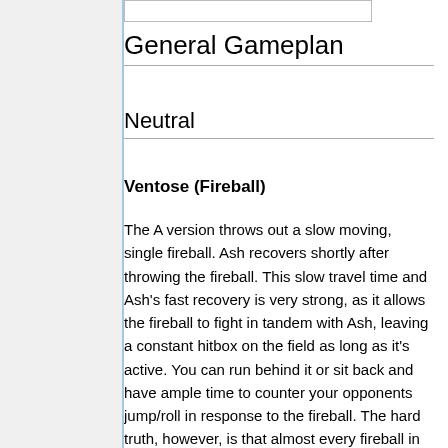General Gameplan
Neutral
Ventose (Fireball)
The A version throws out a slow moving, single fireball. Ash recovers shortly after throwing the fireball. This slow travel time and Ash's fast recovery is very strong, as it allows the fireball to fight in tandem with Ash, leaving a constant hitbox on the field as long as it's active. You can run behind it or sit back and have ample time to counter your opponents jump/roll in response to the fireball. The hard truth, however, is that almost every fireball in KOF acts like this, and when we start to compare Ash's